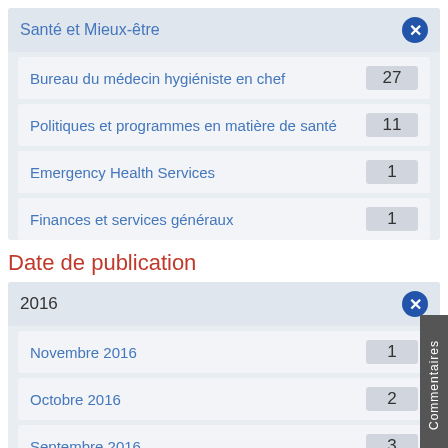Santé et Mieux-être
Bureau du médecin hygiéniste en chef  27
Politiques et programmes en matière de santé  11
Emergency Health Services  1
Finances et services généraux  1
Date de publication
2016
Novembre 2016  1
Octobre 2016  2
Septembre 2016  3
Août 2016  3